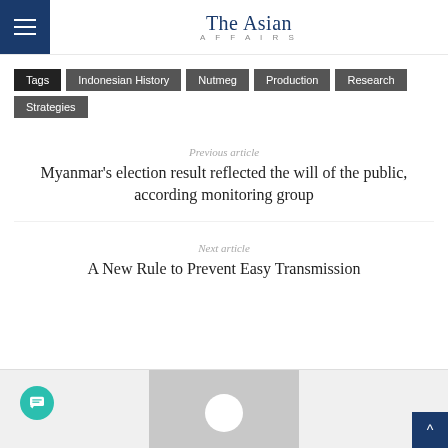The Asian Affairs
Tags | Indonesian History | Nutmeg | Production | Research | Strategies
Previous article
Myanmar's election result reflected the will of the public, according monitoring group
Next article
A New Rule to Prevent Easy Transmission
[Figure (photo): Author avatar placeholder image (gray background with white circle silhouette)]